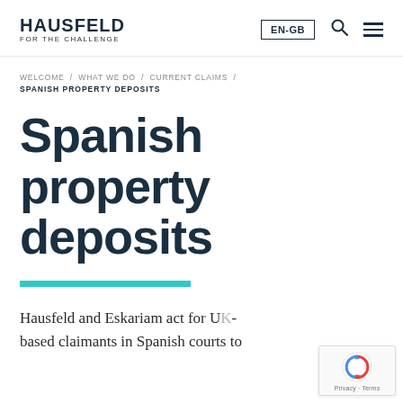HAUSFELD FOR THE CHALLENGE | EN-GB
WELCOME / WHAT WE DO / CURRENT CLAIMS / SPANISH PROPERTY DEPOSITS
Spanish property deposits
[Figure (other): Teal horizontal decorative bar]
Hausfeld and Eskariam act for UK-based claimants in Spanish courts to